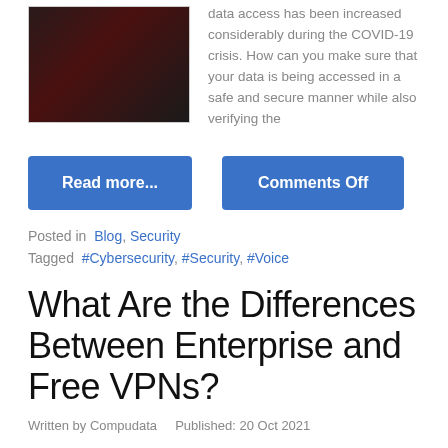[Figure (photo): Dark smartphone on dark background]
data access has been increased considerably during the COVID-19 crisis. How can you make sure that your data is being accessed in a safe and secure manner while also verifying the
Read more...
Comments Off
Posted in  Blog, Security
Tagged  #Cybersecurity, #Security, #Voice
What Are the Differences Between Enterprise and Free VPNs?
Written by Compudata    Published: 20 Oct 2021